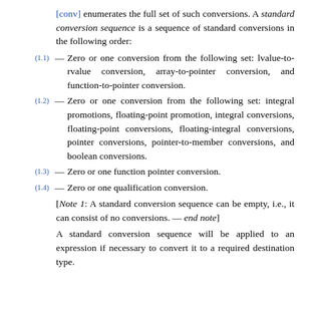[conv] enumerates the full set of such conversions. A standard conversion sequence is a sequence of standard conversions in the following order:
(1.1) — Zero or one conversion from the following set: lvalue-to-rvalue conversion, array-to-pointer conversion, and function-to-pointer conversion.
(1.2) — Zero or one conversion from the following set: integral promotions, floating-point promotion, integral conversions, floating-point conversions, floating-integral conversions, pointer conversions, pointer-to-member conversions, and boolean conversions.
(1.3) — Zero or one function pointer conversion.
(1.4) — Zero or one qualification conversion.
[Note 1: A standard conversion sequence can be empty, i.e., it can consist of no conversions. — end note]
A standard conversion sequence will be applied to an expression if necessary to convert it to a required destination type.